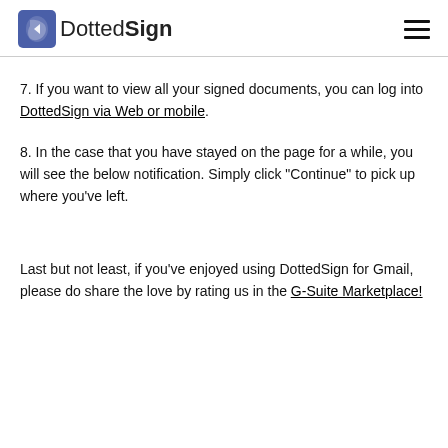DottedSign
7. If you want to view all your signed documents, you can log into DottedSign via Web or mobile.
8. In the case that you have stayed on the page for a while, you will see the below notification. Simply click "Continue" to pick up where you've left.
Last but not least, if you've enjoyed using DottedSign for Gmail, please do share the love by rating us in the G-Suite Marketplace!